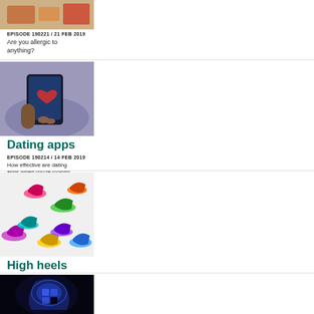[Figure (photo): Partial top image cropped at top of page (food/items)]
EPISODE 190221 / 21 FEB 2019
Are you allergic to anything?
[Figure (photo): Person holding a smartphone with a heart on the screen, blurred crowd background]
Dating apps
EPISODE 190214 / 14 FEB 2019
How effective are dating apps when you're looking for a romantic partner?
[Figure (photo): Colorful high heel shoes scattered on a white background]
High heels
EPISODE 190207 / 07 FEB 2019
What's so special about these uncomfortable shoes?
[Figure (photo): Blue glowing human head silhouette with puzzle piece brain]
Improving your memory